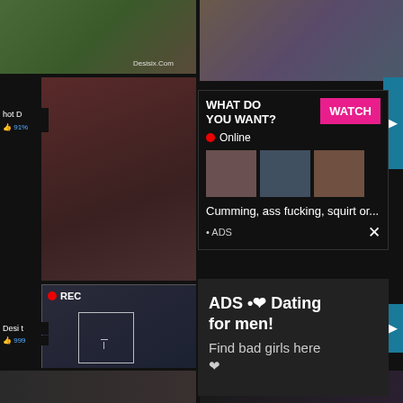[Figure (screenshot): Adult video website screenshot with thumbnails and popup advertisements]
hot D
👍 91%
WHAT DO YOU WANT?
WATCH
● Online
Cumming, ass fucking, squirt or...
• ADS
REC
Desi t
👍 999
ADS • ❤ Dating for men!
Find bad girls here ❤